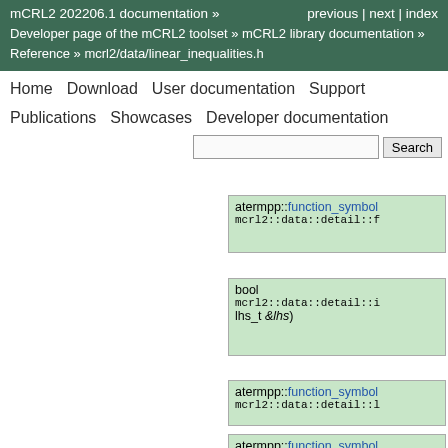mCRL2 202206.1 documentation »    previous | next | index
Developer page of the mCRL2 toolset » mCRL2 library documentation » Reference » mcrl2/data/linear_inequalities.h
Home   Download   User documentation   Support   Publications   Showcases   Developer documentation
Search
[Figure (screenshot): Code entry box 1: atermpp::function_symbol mcrl2::data::detail::f...]
[Figure (screenshot): Code entry box 2: bool mcrl2::data::detail::i... lhs_t &lhs)]
[Figure (screenshot): Code entry box 3: atermpp::function_symbol mcrl2::data::detail::l...]
[Figure (screenshot): Code entry box 4: atermpp::function_symbol mcrl2::data::detail::l...]